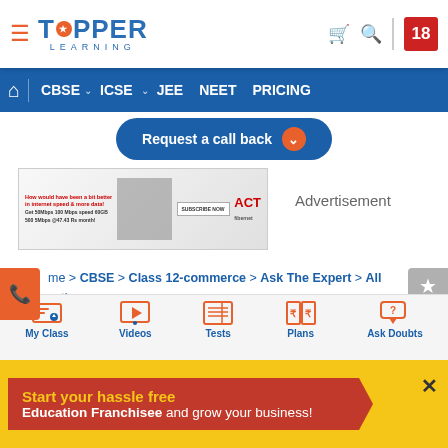[Figure (screenshot): TopperLearning website header with logo, navigation bar, request a call back button, advertisement banner, breadcrumb navigation, page title, bottom tab bar, and promotional banner]
TOPPER LEARNING
CBSE  ICSE  JEE  NEET  PRICING
Request a call back
Advertisement
me > CBSE > Class 12-commerce > Ask The Expert > All estions
Save
CBSE Class 12-Commerce Answered
My Class  Videos  Tests  Plans  Ask Doubts
Start your hassle free Education Franchisee and grow your business!